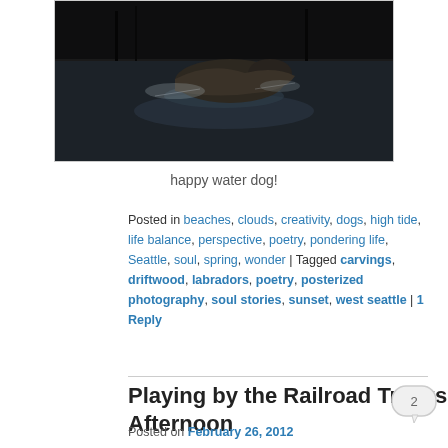[Figure (photo): A dog swimming in dark water, partial view from above showing the animal's back and creating ripples]
happy water dog!
Posted in beaches, clouds, creativity, dogs, high tide, life balance, perspective, poetry, pondering life, Seattle, soul, spring, wonder | Tagged carvings, driftwood, labradors, poetry, posterized photography, soul stories, sunset, west seattle | 1 Reply
Playing by the Railroad Tracks on a Windy Winter Afternoon
Posted on February 26, 2012